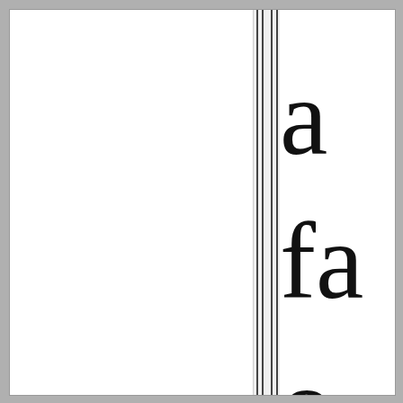[Figure (other): Page showing two vertical panels separated by four vertical lines. The right panel contains large serif characters: 'a', 'fa', and 'o' arranged vertically, partially cropped at the right edge.]